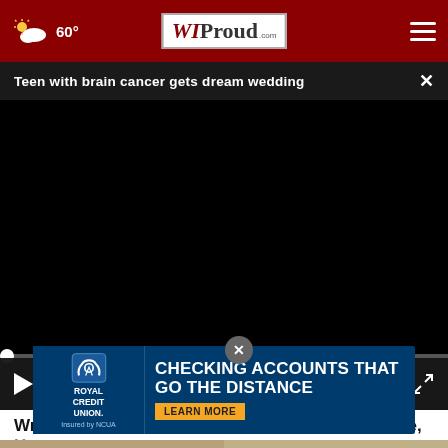60° WIProud.com
Teen with brain cancer gets dream wedding
[Figure (screenshot): Black video player with progress bar at 00:00, play button, mute button, and fullscreen button]
Wrap Foil Around Your Doorknob at Night if Alone, Here's Why
So go a...
[Figure (other): Royal Credit Union advertisement: Checking Accounts That Go The Distance - Learn More]